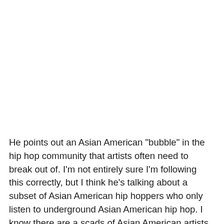He points out an Asian American "bubble" in the hip hop community that artists often need to break out of. I'm not entirely sure I'm following this correctly, but I think he's talking about a subset of Asian American hip hoppers who only listen to underground Asian American hip hop. I know there are a scads of Asian American artists in hip hop, but I had no idea there were enough artists to make this possible. Can anyone confirm, or am I reading this completely wrong?